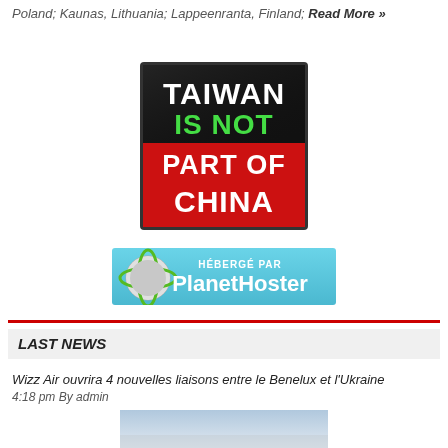Poland; Kaunas, Lithuania; Lappeenranta, Finland; Read More »
[Figure (illustration): Taiwan Is Not Part Of China banner image — black top half with white bold text 'TAIWAN IS NOT', red bottom half with white bold text 'PART OF CHINA']
[Figure (logo): PlanetHoster hosting banner — light blue background with globe logo on left and text 'HÉBERGÉ PAR PlanetHoster']
LAST NEWS
Wizz Air ouvrira 4 nouvelles liaisons entre le Benelux et l'Ukraine
4:18 pm By admin
[Figure (photo): Partial photo visible at bottom of page, appears to show sky or aircraft]